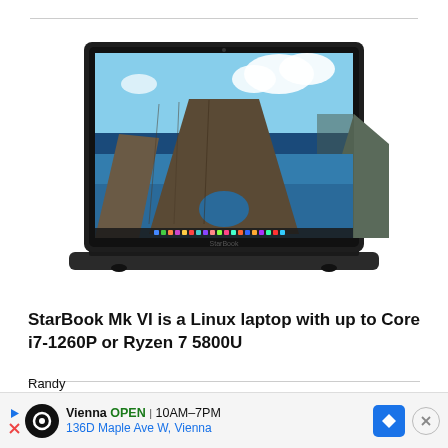[Figure (photo): A StarBook Mk VI laptop with a scenic wallpaper showing ocean rock formations and blue sky on its display screen.]
StarBook Mk VI is a Linux laptop with up to Core i7-1260P or Ryzen 7 5800U
RECENT COMMENTS
Sharon Mangold on Older Amazon Kindle devices lose Kindle Store a...
Randy...
Vienna OPEN 10AM–7PM 136D Maple Ave W, Vienna